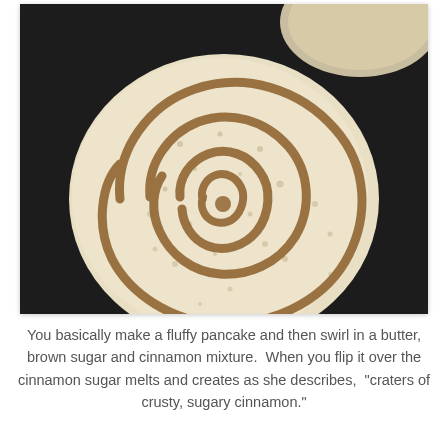[Figure (photo): Close-up photo of a cinnamon roll pancake on a dark surface. The pancake is round and pale cream-colored with a spiral swirl of cinnamon-brown sugar mixture piped from the center outward. Another partially visible pancake appears in the upper right corner.]
You basically make a fluffy pancake and then swirl in a butter, brown sugar and cinnamon mixture.  When you flip it over the cinnamon sugar melts and creates as she describes, "craters of crusty, sugary cinnamon."